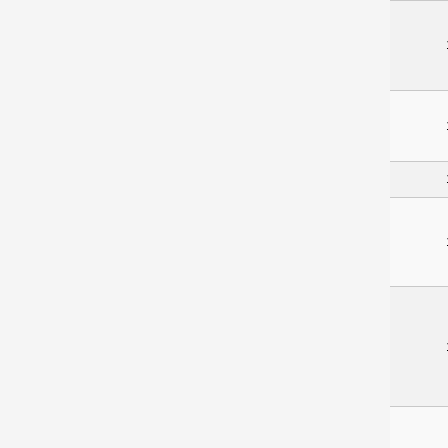| IP/CIDR | Name | Description |
| --- | --- | --- |
| 10.103.252.0/22 | and single IP hosts like servers | other hos using on single IP small sub |
| 10.103.252.1/32 | charmander | tcrowns b his mobi network. |
| 10.103.252.2/32 | agora | openfly |
| 10.103.252.3/32 | phobos | Testing la - Not alw online. C ethosrot. |
| 10.103.252.4/32 | atxhs | ATX Hackersp |
|  |  | Productio laptop - N |